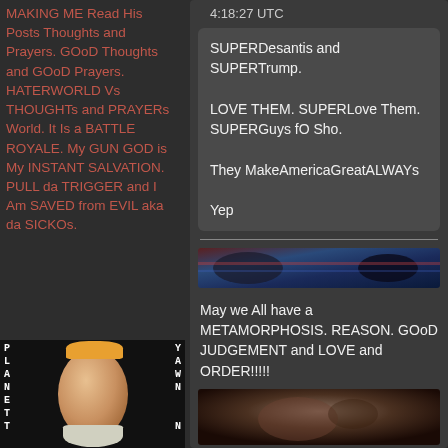MAKING ME Read His Posts Thoughts and Prayers. GOoD Thoughts and GOoD Prayers. HATERWORLD Vs THOUGHTs and PRAYERs World. It Is a BATTLE ROYALE. My GUN GOD is My INSTANT SALVATION. PULL da TRIGGER and I Am SAVED from EVIL aka da SICKOs.
[Figure (photo): Image with text overlay: PLANET on left side, YAWN on right side, with a face (resembling a political figure) in the center]
4:18:27 UTC
SUPERDesantis and SUPERTrump.

LOVE THEM. SUPERLove Them. SUPERGuys fO Sho.

They MakeAmericaGreatALWAYs

Yep
[Figure (screenshot): A blurred/redacted link preview image with dark blue and red tones]
May we All have a METAMORPHOSIS. REASON. GOoD JUDGEMENT and LOVE and ORDER!!!!!
[Figure (photo): A dark close-up photo, appears to show a person or creature]